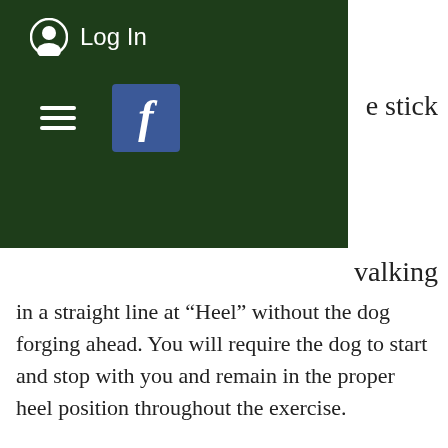[Figure (screenshot): Dark green navigation bar with user icon, Log In text, hamburger menu icon, and Facebook icon button]
e stick
valking in a straight line at “Heel” without the dog forging ahead. You will require the dog to start and stop with you and remain in the proper heel position throughout the exercise.
2. The second drill will be the act of turning both left and right with you dog while remaining in the heel position. For those of you that heel you dogs on the left side, begin your turns by turning left only. This act of turning left will teach the dog to lag back to avoid you